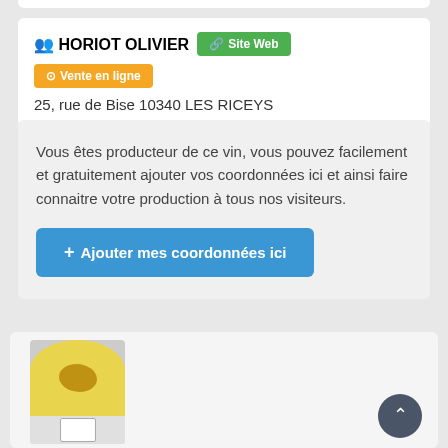HORIOT OLIVIER — 25, rue de Bise 10340 LES RICEYS
Vous êtes producteur de ce vin, vous pouvez facilement et gratuitement ajouter vos coordonnées ici et ainsi faire connaitre votre production à tous nos visiteurs.
+ Ajouter mes coordonnées ici
[Figure (photo): Wine tasting plate photo with a yellow circular plate and amber-colored wine sediment pattern on it, with a wine label beneath.]